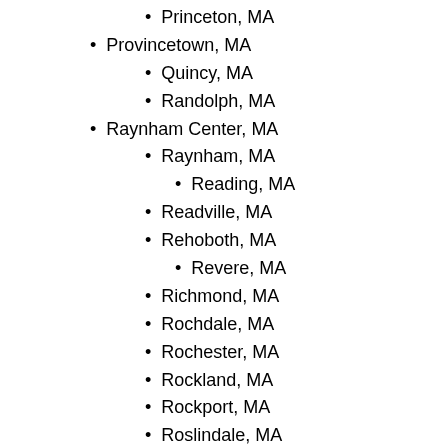Princeton, MA
Provincetown, MA
Quincy, MA
Randolph, MA
Raynham Center, MA
Raynham, MA
Reading, MA
Readville, MA
Rehoboth, MA
Revere, MA
Richmond, MA
Rochdale, MA
Rochester, MA
Rockland, MA
Rockport, MA
Roslindale, MA
Rowe, MA
Rowley, MA
Roxbury Crossing, MA
Roxbury, MA
Royalston, MA